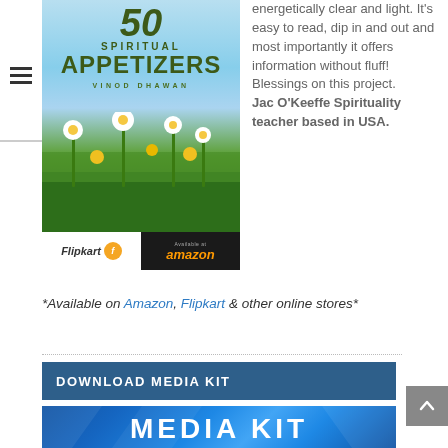[Figure (illustration): Book cover of '50 Spiritual Appetizers' by Vinod Dhawan, showing daisies and yellow flowers against a sky background, with Flipkart and Amazon purchase badges at the bottom.]
energetically clear and light. It's easy to read, dip in and out and most importantly it offers information without fluff! Blessings on this project. Jac O'Keeffe Spirituality teacher based in USA.
*Available on Amazon, Flipkart & other online stores*
DOWNLOAD MEDIA KIT
[Figure (illustration): Media Kit banner with blue geometric background and large white bold text reading MEDIA KIT]